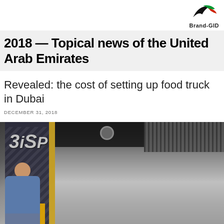Brand-GID
2018 — Topical news of the United Arab Emirates
Revealed: the cost of setting up food truck in Dubai
DECEMBER 31, 2018
[Figure (photo): A person sitting in front of a food truck with a branded banner reading '3iSP' on the left side and stainless steel kitchen equipment visible in the background.]